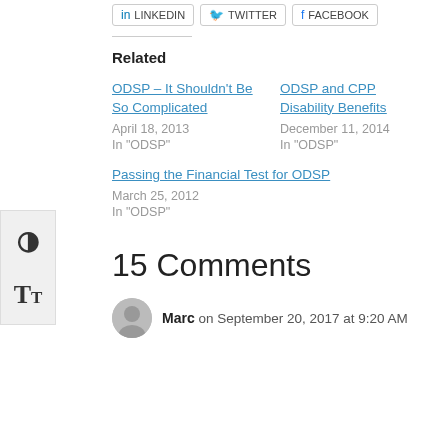[Figure (screenshot): Social sharing buttons partially visible at top: LinkedIn, Twitter, Facebook]
Related
ODSP – It Shouldn't Be So Complicated
April 18, 2013
In "ODSP"
ODSP and CPP Disability Benefits
December 11, 2014
In "ODSP"
Passing the Financial Test for ODSP
March 25, 2012
In "ODSP"
15 Comments
Marc on September 20, 2017 at 9:20 AM